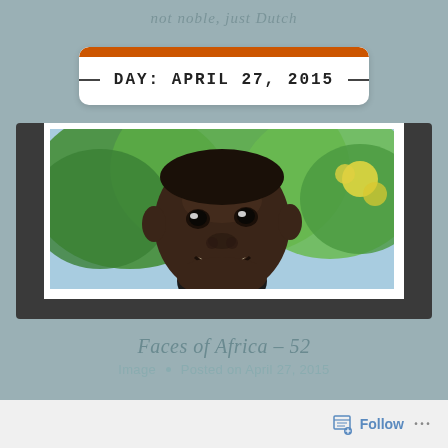not noble, just Dutch
DAY: APRIL 27, 2015
[Figure (photo): A smiling young African boy photographed outdoors with green trees and yellow flowers in the background. The photo is displayed in a polaroid-style frame with dark corner brackets on a dark background strip.]
Faces of Africa – 52
Image • Posted on April 27, 2015
Follow ...